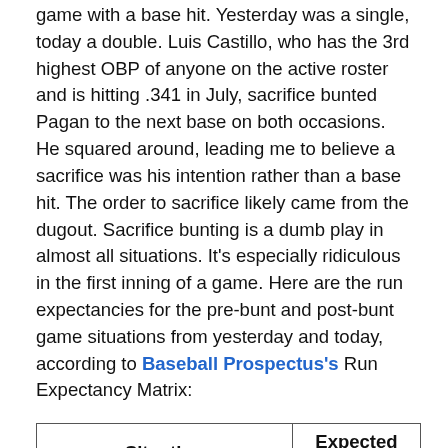game with a base hit. Yesterday was a single, today a double. Luis Castillo, who has the 3rd highest OBP of anyone on the active roster and is hitting .341 in July, sacrifice bunted Pagan to the next base on both occasions. He squared around, leading me to believe a sacrifice was his intention rather than a base hit. The order to sacrifice likely came from the dugout. Sacrifice bunting is a dumb play in almost all situations. It's especially ridiculous in the first inning of a game. Here are the run expectancies for the pre-bunt and post-bunt game situations from yesterday and today, according to Baseball Prospectus's Run Expectancy Matrix:
| Situation | Expected Runs |
| --- | --- |
| Runner On First - 0 Out | 0.88 |
| Runner On Second - 1 | 0.70 |